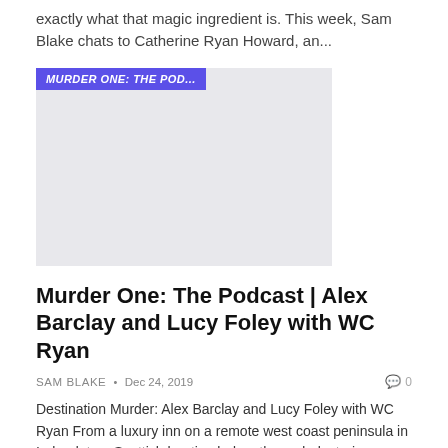exactly what that magic ingredient is. This week, Sam Blake chats to Catherine Ryan Howard, an...
[Figure (screenshot): Card image placeholder with purple label 'MURDER ONE: THE POD...' at top left]
Murder One: The Podcast | Alex Barclay and Lucy Foley with WC Ryan
SAM BLAKE • Dec 24, 2019   0
Destination Murder: Alex Barclay and Lucy Foley with WC Ryan From a luxury inn on a remote west coast peninsula in Ireland, to a Scottish hunting lodge, these dark stories are told by two of crimes leading female voices. Chaired by WC...
[Figure (screenshot): Card image placeholder with purple label 'MURDER ONE: THE POD...' at top left]